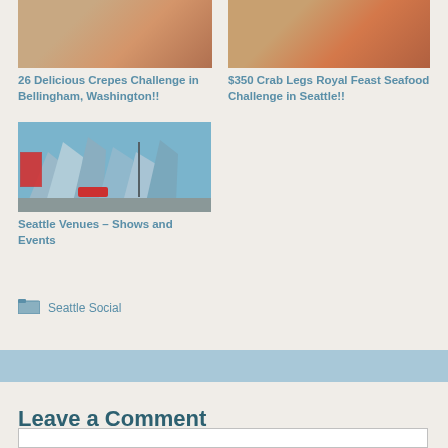[Figure (photo): Food photo thumbnail - crepes dish]
[Figure (photo): Food photo thumbnail - crab legs seafood]
26 Delicious Crepes Challenge in Bellingham, Washington!!
$350 Crab Legs Royal Feast Seafood Challenge in Seattle!!
[Figure (photo): Building photo - modern architectural structure, Seattle venue]
Seattle Venues – Shows and Events
Seattle Social
Leave a Comment